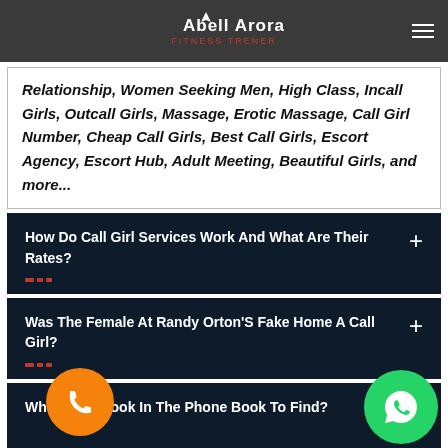Abell Arora | Fitness Trener
Relationship, Women Seeking Men, High Class, Incall Girls, Outcall Girls, Massage, Erotic Massage, Call Girl Number, Cheap Call Girls, Best Call Girls, Escort Agency, Escort Hub, Adult Meeting, Beautiful Girls, and more...
How Do Call Girl Services Work And What Are Their Rates?
Was The Female At Randy Orton'S Fake Home A Call Girl?
Where Do I Look In The Phone Book To Find?